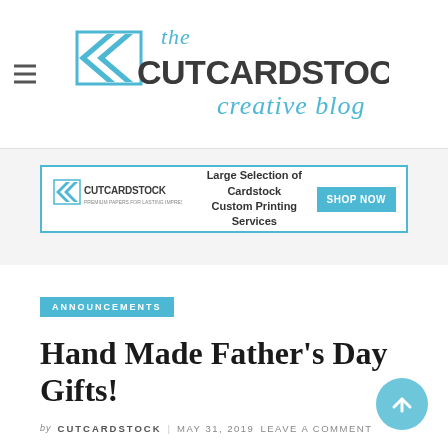[Figure (logo): The CutCardStock Creative Blog logo with double chevron arrows in blue and dark gray bold lettering, with 'creative blog' in light blue script]
[Figure (other): CutCardStock advertisement banner: 'Large Selection of Cardstock Custom Printing Services' with SHOP NOW button in teal]
ANNOUNCEMENTS
Hand Made Father's Day Gifts!
by CUTCARDSTOCK   MAY 31, 2019 LEAVE A COMMENT